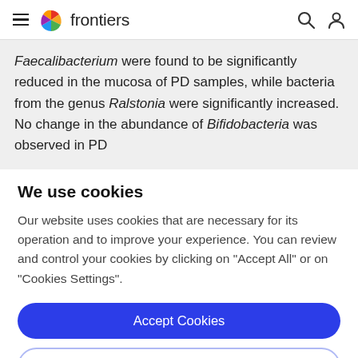frontiers
Faecalibacterium were found to be significantly reduced in the mucosa of PD samples, while bacteria from the genus Ralstonia were significantly increased. No change in the abundance of Bifidobacteria was observed in PD
We use cookies
Our website uses cookies that are necessary for its operation and to improve your experience. You can review and control your cookies by clicking on "Accept All" or on "Cookies Settings".
Accept Cookies
Cookies Settings